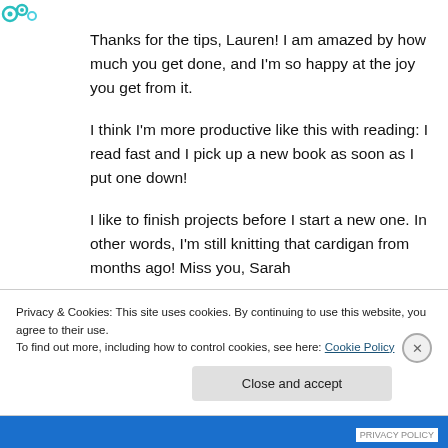[Figure (logo): Small teal/green decorative logo icon in top-left corner]
Thanks for the tips, Lauren! I am amazed by how much you get done, and I'm so happy at the joy you get from it.
I think I'm more productive like this with reading: I read fast and I pick up a new book as soon as I put one down!
I like to finish projects before I start a new one. In other words, I'm still knitting that cardigan from months ago! Miss you, Sarah
Privacy & Cookies: This site uses cookies. By continuing to use this website, you agree to their use.
To find out more, including how to control cookies, see here: Cookie Policy
Close and accept